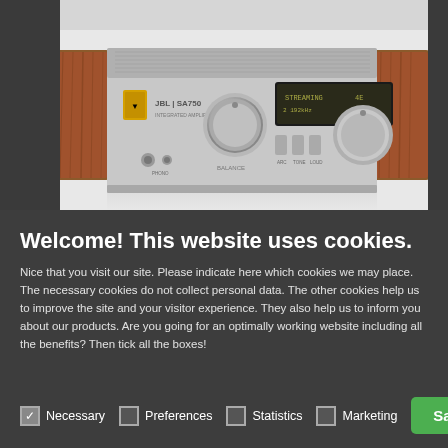[Figure (photo): JBL SA750 integrated amplifier — silver chassis with wood side panels, display screen, volume/balance knobs, and selector switches, shown in a product photo against a light background with dark side strips.]
Welcome! This website uses cookies.
Nice that you visit our site. Please indicate here which cookies we may place. The necessary cookies do not collect personal data. The other cookies help us to improve the site and your visitor experience. They also help us to inform you about our products. Are you going for an optimally working website including all the benefits? Then tick all the boxes!
Necessary (checked)
Preferences
Statistics
Marketing
Save